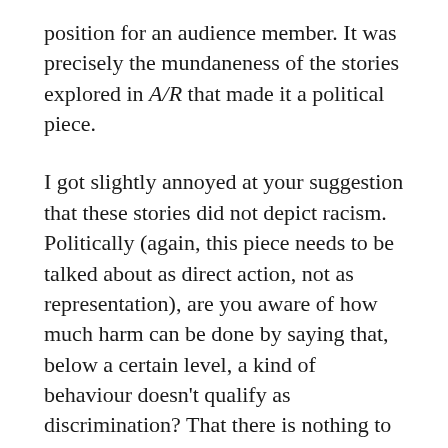position for an audience member. It was precisely the mundaneness of the stories explored in A/R that made it a political piece.
I got slightly annoyed at your suggestion that these stories did not depict racism. Politically (again, this piece needs to be talked about as direct action, not as representation), are you aware of how much harm can be done by saying that, below a certain level, a kind of behaviour doesn’t qualify as discrimination? That there is nothing to complain about, so shush?